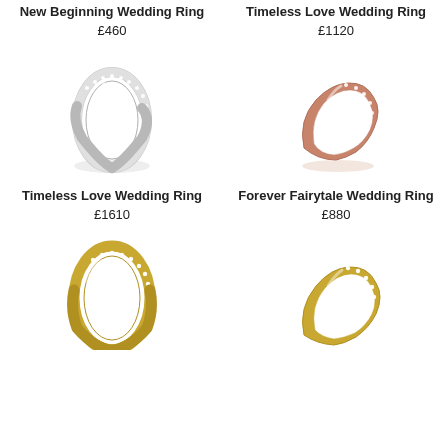New Beginning Wedding Ring
£460
Timeless Love Wedding Ring
£1120
[Figure (photo): Silver/white gold half-eternity ring with diamond pavé setting, oval band shape, photographed on white background]
Timeless Love Wedding Ring
£1610
[Figure (photo): Rose gold curved/heart-shaped wedding ring with diamond pavé setting, photographed on white background]
Forever Fairytale Wedding Ring
£880
[Figure (photo): Yellow gold half-eternity ring with diamond pavé setting, oval band shape, photographed on white background]
[Figure (photo): Yellow gold curved/heart-shaped wedding ring with diamond pavé setting, photographed on white background]